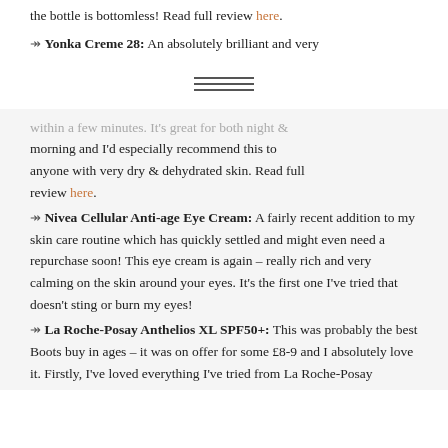the bottle is bottomless! Read full review here.
Yonka Creme 28: An absolutely brilliant and very
[Figure (other): Three horizontal lines decorative divider]
within a few minutes. It's great for both night & morning and I'd especially recommend this to anyone with very dry & dehydrated skin. Read full review here.
Nivea Cellular Anti-age Eye Cream: A fairly recent addition to my skin care routine which has quickly settled and might even need a repurchase soon! This eye cream is again – really rich and very calming on the skin around your eyes. It's the first one I've tried that doesn't sting or burn my eyes!
La Roche-Posay Anthelios XL SPF50+: This was probably the best Boots buy in ages – it was on offer for some £8-9 and I absolutely love it. Firstly, I've loved everything I've tried from La Roche-Posay